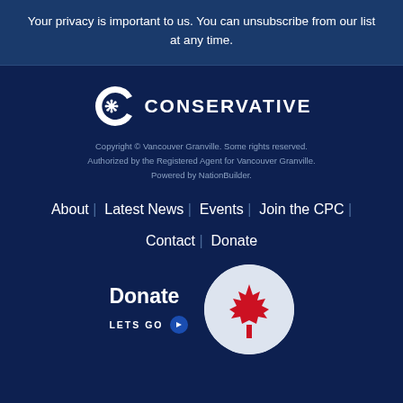Your privacy is important to us. You can unsubscribe from our list at any time.
[Figure (logo): Conservative Party of Canada logo - white C with snowflake/asterisk symbol and text CONSERVATIVE]
Copyright © Vancouver Granville. Some rights reserved. Authorized by the Registered Agent for Vancouver Granville. Powered by NationBuilder.
About | Latest News | Events | Join the CPC | Contact | Donate
Donate
LETS GO
[Figure (illustration): Canadian maple leaf flag in a circular crop]